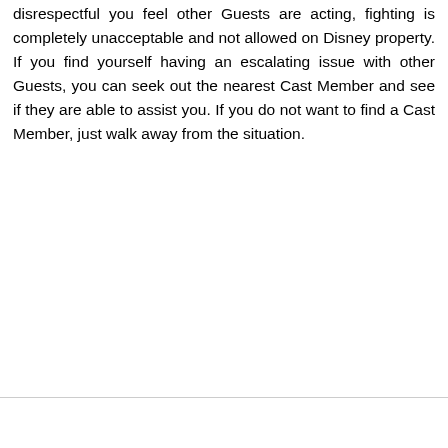disrespectful you feel other Guests are acting, fighting is completely unacceptable and not allowed on Disney property. If you find yourself having an escalating issue with other Guests, you can seek out the nearest Cast Member and see if they are able to assist you. If you do not want to find a Cast Member, just walk away from the situation.